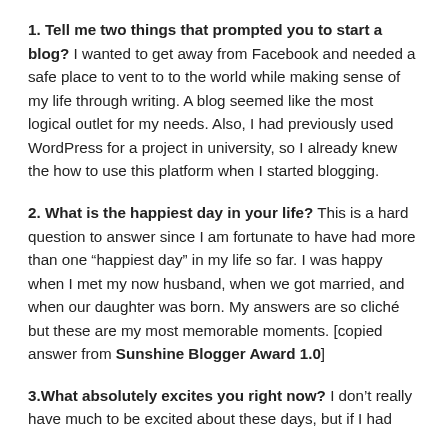1. Tell me two things that prompted you to start a blog? I wanted to get away from Facebook and needed a safe place to vent to to the world while making sense of my life through writing. A blog seemed like the most logical outlet for my needs. Also, I had previously used WordPress for a project in university, so I already knew the how to use this platform when I started blogging.
2. What is the happiest day in your life? This is a hard question to answer since I am fortunate to have had more than one “happiest day” in my life so far. I was happy when I met my now husband, when we got married, and when our daughter was born. My answers are so cliché but these are my most memorable moments. [copied answer from Sunshine Blogger Award 1.0]
3.What absolutely excites you right now? I don’t really have much to be excited about these days, but if I had